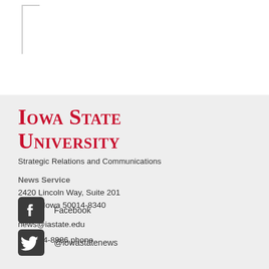[Figure (logo): Iowa State University logo mark (partial, top-left corner border element)]
Iowa State University
Strategic Relations and Communications
News Service
2420 Lincoln Way, Suite 201
Ames, Iowa 50014-8340
news@iastate.edu
515-294-8986 phone
[Figure (logo): Facebook logo icon (rounded square with f)]
Facebook
[Figure (logo): Twitter/X logo icon (dark rounded square with bird)]
@iowastatenews